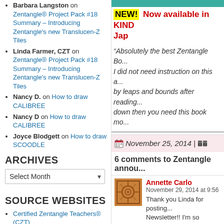Barbara Langston on Zentangle® Project Pack #18 Summary – Introducing Zentangle's new Translucen-Z Tiles
Linda Farmer, CZT on Zentangle® Project Pack #18 Summary – Introducing Zentangle's new Translucen-Z Tiles
Nancy D. on How to draw CALIBREE
Nancy D on How to draw CALIBREE
Joyce Blodgett on How to draw SCOODLE
ARCHIVES
Select Month
SOURCE WEBSITES
Certified Zentangle Teachers® (CZT)
How to become a CZT to teach the Zentangle® Method
Official Kit and Supplies
TanglePatterns Strings Group on flickr
Zendala Zone on flickr
Zentangle.com
Zentangle® Blog
NEW! Now available in KIND... Jap...
"Absolutely the best Zentangle Bo... I did not need instruction on this a... by leaps and bounds after reading... down then you need this book mo...
November 25, 2014 |
6 comments to Zentangle annou...
Annette Carlo
November 29, 2014 at 9:56
Thank you Linda for posting... Newsletter!! I'm so excited.......I'm si...